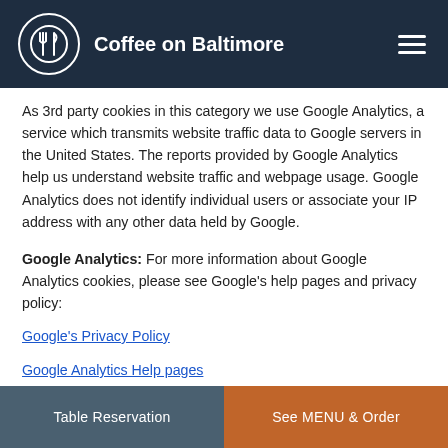Coffee on Baltimore
As 3rd party cookies in this category we use Google Analytics, a service which transmits website traffic data to Google servers in the United States. The reports provided by Google Analytics help us understand website traffic and webpage usage. Google Analytics does not identify individual users or associate your IP address with any other data held by Google.
Google Analytics: For more information about Google Analytics cookies, please see Google's help pages and privacy policy:
Google's Privacy Policy
Google Analytics Help pages
Table Reservation | See MENU & Order